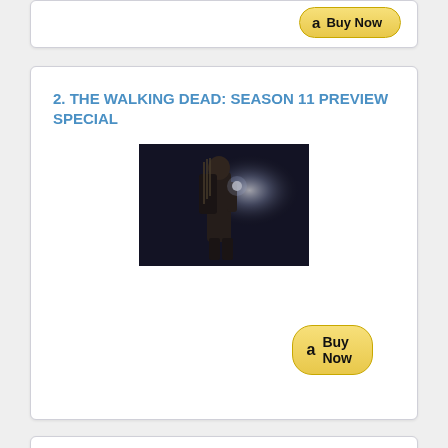[Figure (screenshot): Partial card at top of page showing a Buy Now button]
2. THE WALKING DEAD: SEASON 11 PREVIEW SPECIAL
[Figure (photo): A person in dark tactical gear with a crossbow and a light in what appears to be a dark scene from The Walking Dead]
[Figure (screenshot): Amazon Buy Now button]
3. THE BLESSING WAY: A LEAPHORN & CHEE NOVEL (A LEAPHORN AND